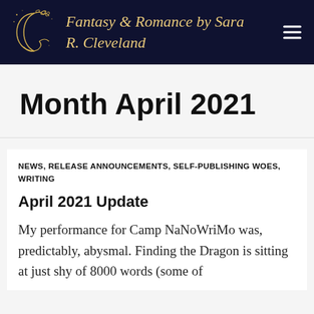Fantasy & Romance by Sara R. Cleveland
Month April 2021
NEWS, RELEASE ANNOUNCEMENTS, SELF-PUBLISHING WOES, WRITING
April 2021 Update
My performance for Camp NaNoWriMo was, predictably, abysmal. Finding the Dragon is sitting at just shy of 8000 words (some of